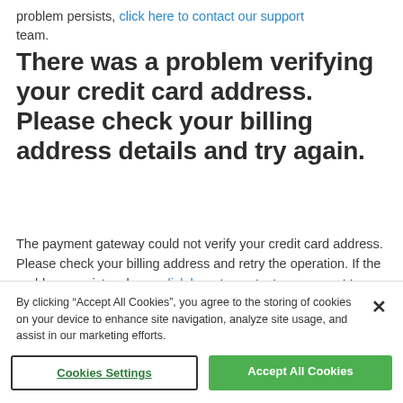problem persists, click here to contact our support team.
There was a problem verifying your credit card address. Please check your billing address details and try again.
The payment gateway could not verify your credit card address. Please check your billing address and retry the operation. If the problem persists, please click here to contact our support team.
By clicking “Accept All Cookies”, you agree to the storing of cookies on your device to enhance site navigation, analyze site usage, and assist in our marketing efforts.
Cookies Settings
Accept All Cookies